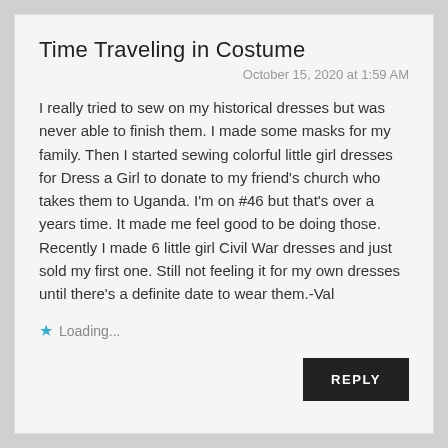Time Traveling in Costume
October 15, 2020 at 1:59 AM
I really tried to sew on my historical dresses but was never able to finish them. I made some masks for my family. Then I started sewing colorful little girl dresses for Dress a Girl to donate to my friend's church who takes them to Uganda. I'm on #46 but that's over a years time. It made me feel good to be doing those. Recently I made 6 little girl Civil War dresses and just sold my first one. Still not feeling it for my own dresses until there's a definite date to wear them.-Val
Loading...
REPLY